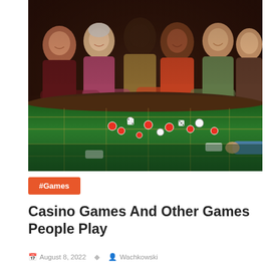[Figure (photo): Group of diverse, smiling people gathered around a casino craps table with drinks, chips and dice on green felt surface]
#Games
Casino Games And Other Games People Play
August 8, 2022  Wachkowski